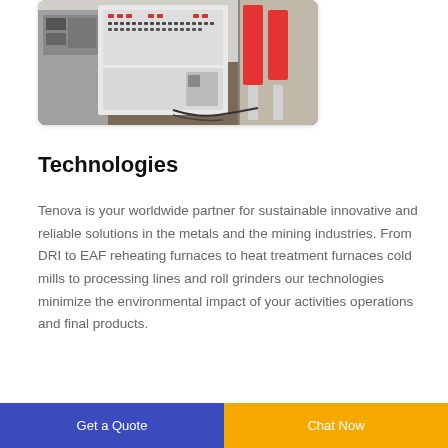[Figure (photo): Industrial control panel and machinery equipment (white control cabinet with buttons and red cylindrical equipment visible in background)]
Technologies
Tenova is your worldwide partner for sustainable innovative and reliable solutions in the metals and the mining industries. From DRI to EAF reheating furnaces to heat treatment furnaces cold mills to processing lines and roll grinders our technologies minimize the environmental impact of your activities operations and final products.
Get a Quote | Chat Now